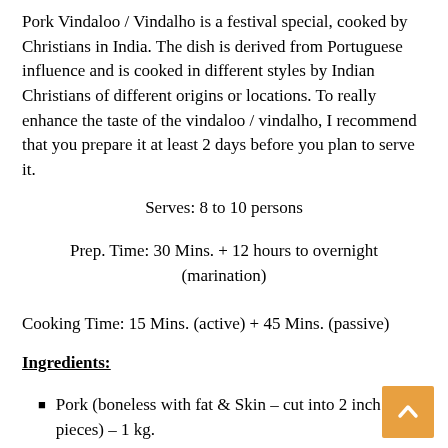Pork Vindaloo / Vindalho is a festival special, cooked by Christians in India. The dish is derived from Portuguese influence and is cooked in different styles by Indian Christians of different origins or locations. To really enhance the taste of the vindaloo / vindalho, I recommend that you prepare it at least 2 days before you plan to serve it.
Serves: 8 to 10 persons
Prep. Time: 30 Mins. + 12 hours to overnight (marination)
Cooking Time: 15 Mins. (active) + 45 Mins. (passive)
Ingredients:
Pork (boneless with fat & Skin – cut into 2 inch pieces) – 1 kg.